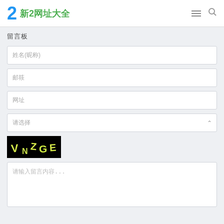新2网址大全
留言板
姓名(昵称)
邮箱
网址
请选择
[Figure (screenshot): CAPTCHA image showing text VN2GE on black background]
请输入留言内容...